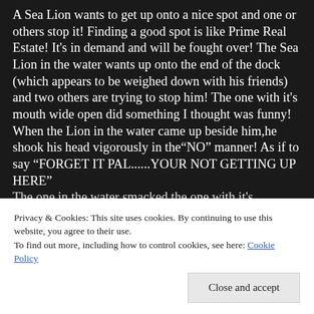A Sea Lion wants to get up onto a nice spot and one or others stop it! Finding a good spot is like Prime Real Estate! It's in demand and will be fought over! The Sea Lion in the water wants up onto the end of the dock (which appears to be weighed down with his friends) and two others are trying to stop him! The one with it's mouth wide open did something I thought was funny!
When the Lion in the water came up beside him,he shook his head vigorously in the"NO" manner! As if to say "FORGET IT PAL......YOUR NOT GETTING UP HERE"
The one in the water smacked the one with it's
Privacy & Cookies: This site uses cookies. By continuing to use this website, you agree to their use.
To find out more, including how to control cookies, see here: Cookie Policy